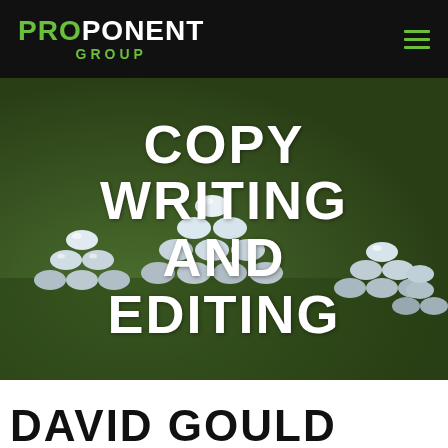[Figure (logo): Proponent Group logo — white bold text 'PROPONENT' with 'PRO' in green, and 'GROUP' in green below, on black background. Hamburger menu icon (three green lines) on the right.]
[Figure (photo): Background photo of pyramids of white golf balls arranged on a green putting surface, used as hero image background.]
COPY WRITING AND EDITING
DAVID GOULD